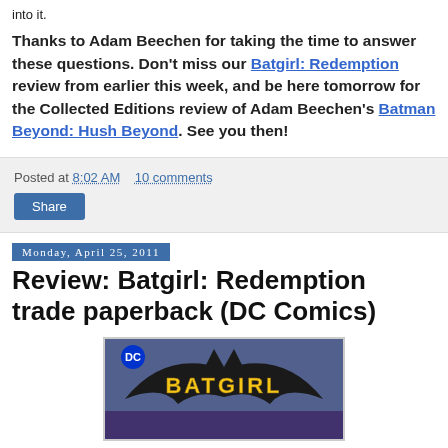into it.
Thanks to Adam Beechen for taking the time to answer these questions. Don't miss our Batgirl: Redemption review from earlier this week, and be here tomorrow for the Collected Editions review of Adam Beechen's Batman Beyond: Hush Beyond. See you then!
Posted at 8:02 AM   10 comments
Share
Monday, April 25, 2011
Review: Batgirl: Redemption trade paperback (DC Comics)
[Figure (photo): Cover of Batgirl: Redemption trade paperback showing the Batgirl logo with a bat silhouette on a blue/purple background with DC logo]